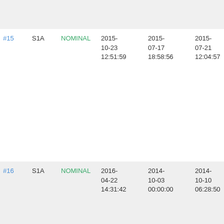| # | Satellite | Status | Date1 | Date2 | Date3 | Description |
| --- | --- | --- | --- | --- | --- | --- |
|  |  |  | ... | ... | ... | ...14 |
| #15 | S1A | NOMINAL | 2015-10-23 12:51:59 | 2015-07-17 18:58:56 | 2015-07-21 12:04:57 | Fai tile am #5 rec ant bet 201 17 201 21 |
| #16 | S1A | NOMINAL | 2016-04-22 14:31:42 | 2014-10-03 00:00:00 | 2014-10-10 06:28:50 | Inv cyc nu and rela orb nu |